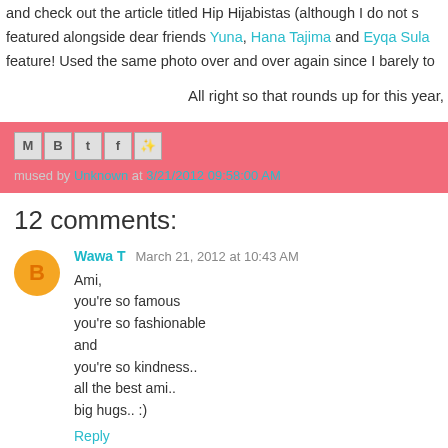and check out the article titled Hip Hijabistas (although I do not s featured alongside dear friends Yuna, Hana Tajima and Eyqa Sula feature! Used the same photo over and over again since I barely to
All right so that rounds up for this year,
mused by Unknown at 3/21/2012 09:58:00 AM
12 comments:
Wawa T  March 21, 2012 at 10:43 AM
Ami,
you're so famous
you're so fashionable
and
you're so kindness..
all the best ami..
big hugs.. :)
Reply